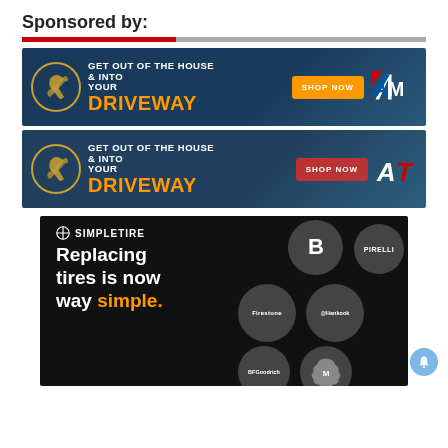Sponsored by:
[Figure (infographic): AutoAnything ad banner: wrench icon, 'GET OUT OF THE HOUSE & INTO YOUR DRIVEWAY' text with orange DRIVEWAY, orange SHOP NOW button, AM logo]
[Figure (infographic): AutoThings ad banner: wrench icon, 'GET OUT OF THE HOUSE & INTO YOUR DRIVEWAY' text with orange DRIVEWAY, red SHOP NOW button, AT logo]
[Figure (infographic): SimpleTire ad: black background with tire brand circles (Bridgestone, Pirelli, Firestone, Hankook, BFGoodrich, Michelin), SimpleTire logo, text 'Replacing tires is now way simple.' with 'simple.' in orange]